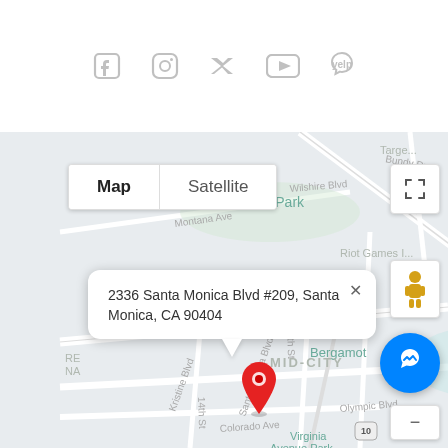[Figure (infographic): Social media icons row: Facebook, Instagram, Twitter, YouTube, Yelp — all in light gray]
[Figure (map): Google Maps embedded map showing mid-city Santa Monica area with a red pin marker and info popup reading '2336 Santa Monica Blvd #209, Santa Monica, CA 90404'. Map controls include Map/Satellite toggle, fullscreen button, street view pegman, Messenger button, and zoom out button. Area labels include Douglas Park, MID-CITY, Bergamot, Riot Games Inc, Virginia Avenue Park.]